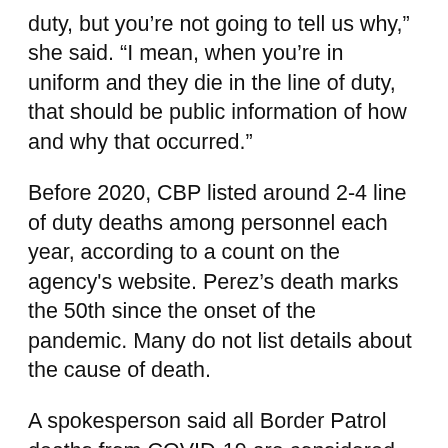duty, but you’re not going to tell us why,” she said. “I mean, when you’re in uniform and they die in the line of duty, that should be public information of how and why that occurred.”
Before 2020, CBP listed around 2-4 line of duty deaths among personnel each year, according to a count on the agency’s website. Perez’s death marks the 50th since the onset of the pandemic. Many do not list details about the cause of death.
A spokesperson said all Border Patrol deaths from COVID-19 are considered line of duty deaths under the Safeguarding America’s First Responders Act of 2020. He declined to confirm Perez’s cause of death, citing privacy concerns.